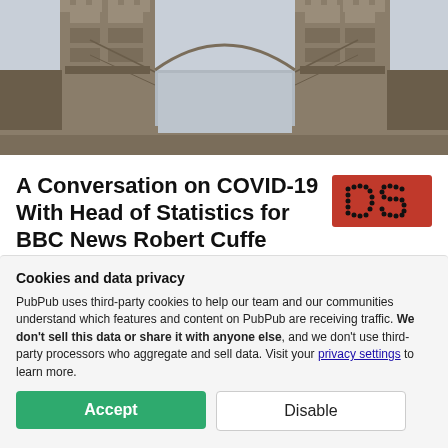[Figure (photo): Photograph of Tower Bridge in London viewed from below the arch, showing the two stone towers and central suspension structure against a grey sky]
A Conversation on COVID-19 With Head of Statistics for BBC News Robert Cuffe
[Figure (logo): DS logo — red background with dotted/pixelated letters DS in black]
by Robert Cuffe, Liberty Vittert, and Xiao-Li Meng
[Figure (illustration): Three overlapping circular author avatars: RC (dark green), V (purple), and a photo avatar of a person]
Cookies and data privacy
PubPub uses third-party cookies to help our team and our communities understand which features and content on PubPub are receiving traffic. We don't sell this data or share it with anyone else, and we don't use third-party processors who aggregate and sell data. Visit your privacy settings to learn more.
Accept
Disable